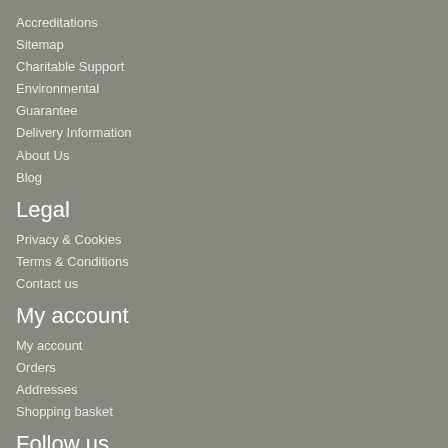Accreditations
Sitemap
Charitable Support
Environmental
Guarantee
Delivery Information
About Us
Blog
Legal
Privacy & Cookies
Terms & Conditions
Contact us
My account
My account
Orders
Addresses
Shopping basket
Follow us
[Figure (other): Social media icons: Twitter, Facebook, YouTube, LinkedIn, Instagram, Pinterest]